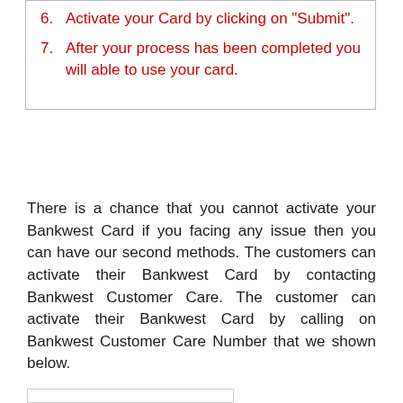6. Activate your Card by clicking on "Submit".
7. After your process has been completed you will able to use your card.
There is a chance that you cannot activate your Bankwest Card if you facing any issue then you can have our second methods. The customers can activate their Bankwest Card by contacting Bankwest Customer Care. The customer can activate their Bankwest Card by calling on Bankwest Customer Care Number that we shown below.